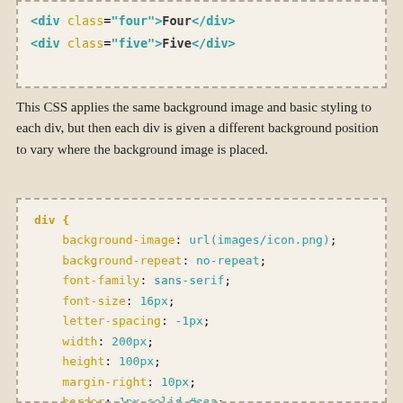[Figure (screenshot): Code snippet showing HTML: <div class="four">Four</div> and <div class="five">Five</div>]
This CSS applies the same background image and basic styling to each div, but then each div is given a different background position to vary where the background image is placed.
[Figure (screenshot): CSS code block showing div { background-image: url(images/icon.png); background-repeat: no-repeat; font-family: sans-serif; font-size: 16px; letter-spacing: -1px; width: 200px; height: 100px; margin-right: 10px; border: 1px solid #aaa; float: left; line-height: 100px; text-align: center; border-radius: 10px; ... }]